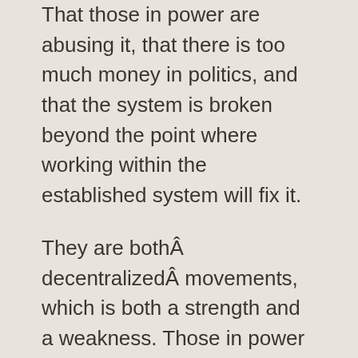That those in power are abusing it, that there is too much money in politics, and that the system is broken beyond the point where working within the established system will fix it.
They are bothÂ decentralizedÂ movements, which is both a strength and a weakness. Those in power (the combination of the two parties and their joint corporate masters) are ridiculing both sides on the airwaves. Photos like those above are shown as if they represent the views of the entire movement. On the other hand, without centralized structure, they are able to pull together a group of people who don’t agree on everything, without forcing